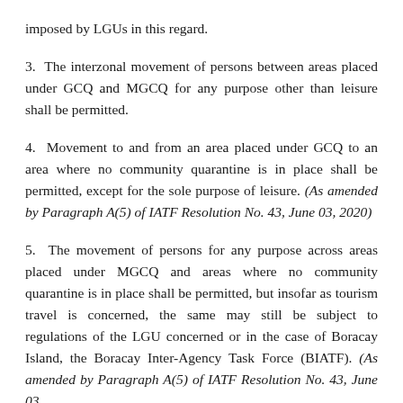imposed by LGUs in this regard.
3.  The interzonal movement of persons between areas placed under GCQ and MGCQ for any purpose other than leisure shall be permitted.
4.  Movement to and from an area placed under GCQ to an area where no community quarantine is in place shall be permitted, except for the sole purpose of leisure. (As amended by Paragraph A(5) of IATF Resolution No. 43, June 03, 2020)
5.  The movement of persons for any purpose across areas placed under MGCQ and areas where no community quarantine is in place shall be permitted, but insofar as tourism travel is concerned, the same may still be subject to regulations of the LGU concerned or in the case of Boracay Island, the Boracay Inter-Agency Task Force (BIATF). (As amended by Paragraph A(5) of IATF Resolution No. 43, June 03,